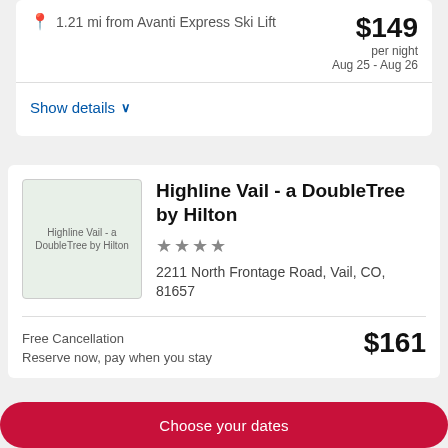1.21 mi from Avanti Express Ski Lift
$149 per night Aug 25 - Aug 26
Show details
Highline Vail - a DoubleTree by Hilton
★★★★
2211 North Frontage Road, Vail, CO, 81657
Free Cancellation
Reserve now, pay when you stay
$161
Choose your dates